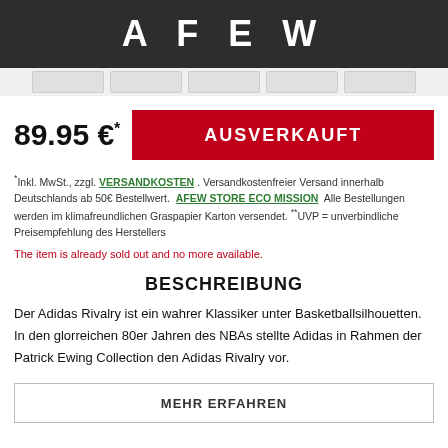A F E W
89.95 €* AUSVERKAUFT
*Inkl. MwSt., zzgl. VERSANDKOSTEN . Versandkostenfreier Versand innerhalb Deutschlands ab 50€ Bestellwert. AFEW STORE ECO MISSION Alle Bestellungen werden im klimafreundlichen Graspapier Karton versendet. **UVP = unverbindliche Preisempfehlung des Herstellers
The item is already sold out and no more available.
BESCHREIBUNG
Der Adidas Rivalry ist ein wahrer Klassiker unter Basketballsilhouetten. In den glorreichen 80er Jahren des NBAs stellte Adidas in Rahmen der Patrick Ewing Collection den Adidas Rivalry vor.
MEHR ERFAHREN